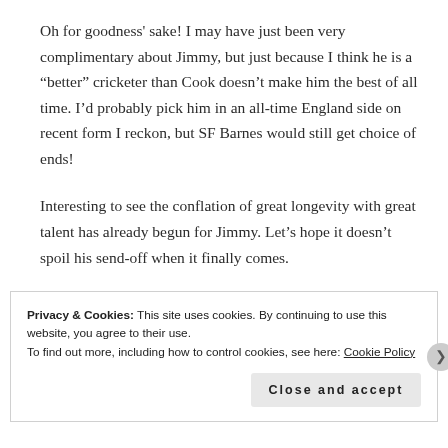Oh for goodness' sake! I may have just been very complimentary about Jimmy, but just because I think he is a “better” cricketer than Cook doesn’t make him the best of all time. I’d probably pick him in an all-time England side on recent form I reckon, but SF Barnes would still get choice of ends!
Interesting to see the conflation of great longevity with great talent has already begun for Jimmy. Let’s hope it doesn’t spoil his send-off when it finally comes.
Privacy & Cookies: This site uses cookies. By continuing to use this website, you agree to their use.
To find out more, including how to control cookies, see here: Cookie Policy
Close and accept